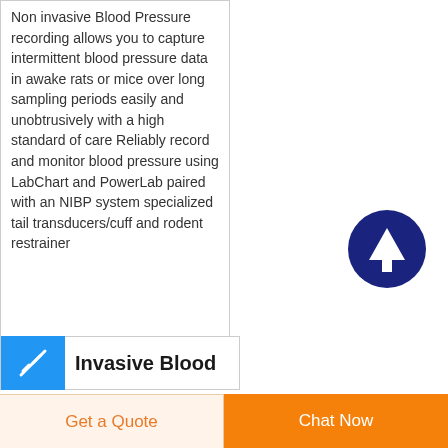Non invasive Blood Pressure recording allows you to capture intermittent blood pressure data in awake rats or mice over long sampling periods easily and unobtrusively with a high standard of care Reliably record and monitor blood pressure using LabChart and PowerLab paired with an NIBP system specialized tail transducers/cuff and rodent restrainer
[Figure (illustration): Dark navy blue circle with a white upward arrow icon — a scroll-to-top or navigation button]
Invasive Blood
Get a Quote
Chat Now